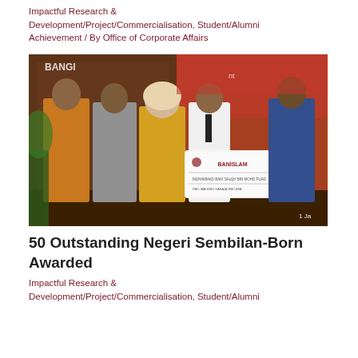Impactful Research & Development/Project/Commercialisation, Student/Alumni Achievement / By Office of Corporate Affairs
[Figure (photo): Group photo of five people posing together at an award ceremony. A young man in a white shirt and tie holds a large ceremonial cheque. Others are dressed in batik attire. A banner with 'BANGI' text and a date '1 Ja...' is partially visible in the background.]
50 Outstanding Negeri Sembilan-Born Awarded
Impactful Research & Development/Project/Commercialisation, Student/Alumni